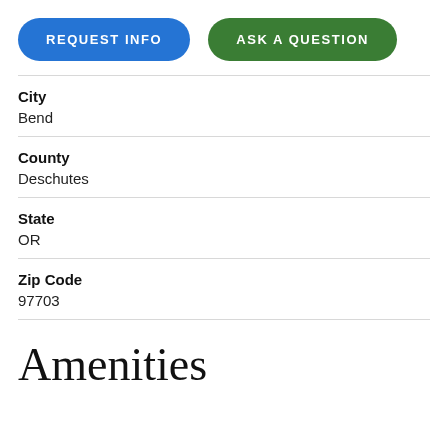[Figure (other): Two buttons: 'REQUEST INFO' (blue rounded) and 'ASK A QUESTION' (green rounded)]
City
Bend
County
Deschutes
State
OR
Zip Code
97703
Amenities